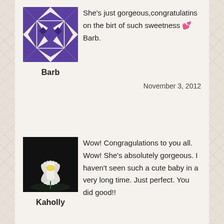[Figure (other): Purple quilt pattern logo avatar for user Barb]
She's just gorgeous,congratulatins on the birt of such sweetness 💕 Barb.
Barb
November 3, 2012
[Figure (photo): White lotus/water lily flower on black background, avatar for user Kaholly]
Kaholly
Wow! Congragulations to you all. Wow! She's absolutely gorgeous. I haven't seen such a cute baby in a very long time. Just perfect. You did good!!